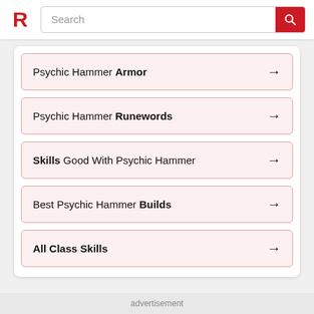Search
Psychic Hammer Armor →
Psychic Hammer Runewords →
Skills Good With Psychic Hammer →
Best Psychic Hammer Builds →
All Class Skills →
advertisement